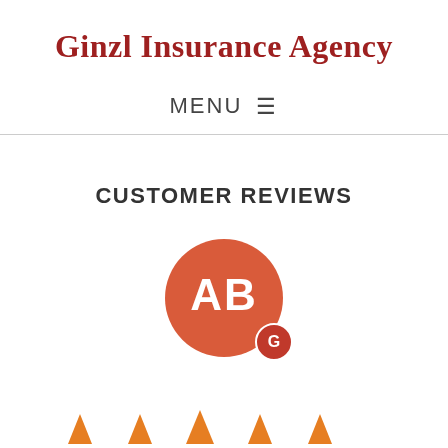Ginzl Insurance Agency
MENU ☰
CUSTOMER REVIEWS
[Figure (illustration): A large red circular avatar with white bold initials 'AB' and a smaller dark red Google 'G' badge circle overlaid at the bottom right of the avatar.]